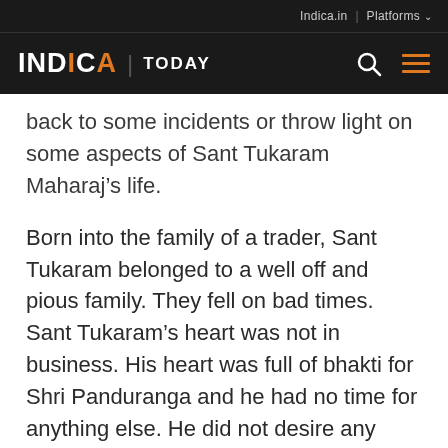Indica.in | Platforms
INDICA | TODAY
back to some incidents or throw light on some aspects of Sant Tukaram Maharaj’s life.
Born into the family of a trader, Sant Tukaram belonged to a well off and pious family. They fell on bad times. Sant Tukaram’s heart was not in business. His heart was full of bhakti for Shri Panduranga and he had no time for anything else. He did not desire any worldly possessions, though